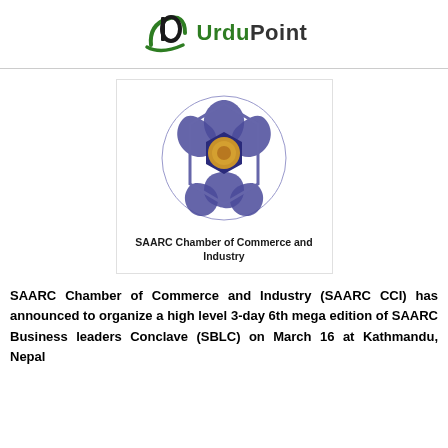UrduPoint
[Figure (logo): SAARC Chamber of Commerce and Industry logo — a hexagonal blue emblem with interconnected curved shapes and a central golden circular motif, with text 'SAARC Chamber of Commerce and Industry' below]
SAARC Chamber of Commerce and Industry (SAARC CCI) has announced to organize a high level 3-day 6th mega edition of SAARC Business leaders Conclave (SBLC) on March 16 at Kathmandu, Nepal